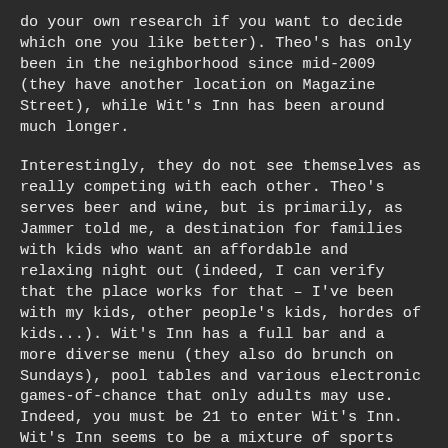do your own research if you want to decide which one you like better). Theo's has only been in the neighborhood since mid-2009 (they have another location on Magazine Street), while Wit's Inn has been around much longer.

Interestingly, they do not see themselves as really competing with each other. Theo's serves beer and wine, but is primarily, as Jammer told me, a destination for families with kids who want an affordable and relaxing night out (indeed, I can verify that the place works for that – I've been with my kids, other people's kids, hordes of kids...). Wit's Inn has a full bar and a more diverse menu (they also do brunch on Sundays), pool tables and various electronic games-of-chance that only adults may use. Indeed, you must be 21 to enter Wit's Inn. Wit's Inn seems to be a mixture of sports bar and neighborhood hangout, with the addition of a full kitchen and professional chef.

All of which seems like a happy situation, with the potential for both businesses to thrive. Except that they are not the only pizza purveyors in our restaurant row. You are in store... Camellias from Wit's Inn if from...